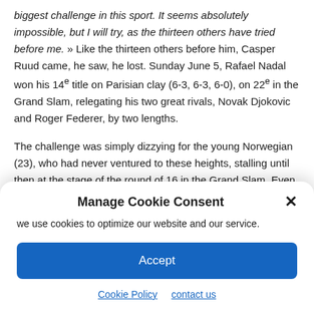biggest challenge in this sport. It seems absolutely impossible, but I will try, as the thirteen others have tried before me. » Like the thirteen others before him, Casper Ruud came, he saw, he lost. Sunday June 5, Rafael Nadal won his 14e title on Parisian clay (6-3, 6-3, 6-0), on 22e in the Grand Slam, relegating his two great rivals, Novak Djokovic and Roger Federer, by two lengths.
The challenge was simply dizzying for the young Norwegian (23), who had never ventured to these heights, stalling until then at the stage of the round of 16 in the Grand Slam. Even more when we
Manage Cookie Consent
we use cookies to optimize our website and our service.
Accept
Cookie Policy   contact us